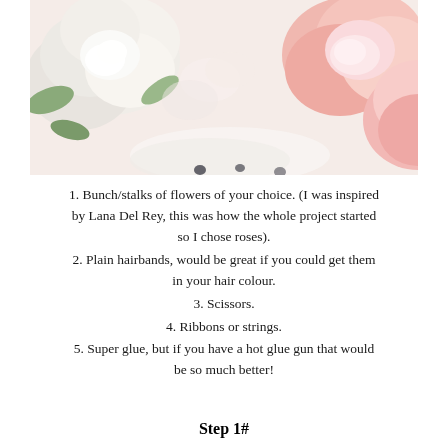[Figure (photo): Photograph of white and pink roses, close-up, bright natural lighting]
1. Bunch/stalks of flowers of your choice. (I was inspired by Lana Del Rey, this was how the whole project started so I chose roses).
2. Plain hairbands, would be great if you could get them in your hair colour.
3. Scissors.
4. Ribbons or strings.
5. Super glue, but if you have a hot glue gun that would be so much better!
Step 1#